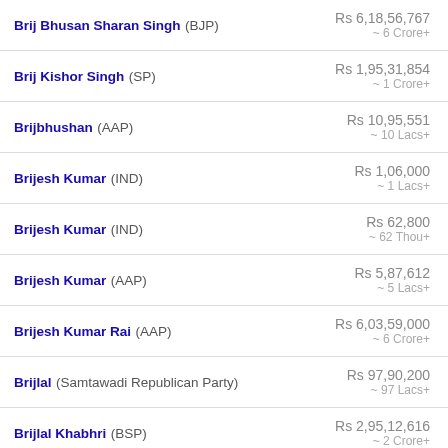Brij Bhusan Sharan Singh (BJP) | Rs 6,18,56,767 ~ 6 Crore+
Brij Kishor Singh (SP) | Rs 1,95,31,854 ~ 1 Crore+
Brijbhushan (AAP) | Rs 10,95,551 ~ 10 Lacs+
Brijesh Kumar (IND) | Rs 1,06,000 ~ 1 Lacs+
Brijesh Kumar (IND) | Rs 62,800 ~ 62 Thou+
Brijesh Kumar (AAP) | Rs 5,87,612 ~ 5 Lacs+
Brijesh Kumar Rai (AAP) | Rs 6,03,59,000 ~ 6 Crore+
Brijlal (Samtawadi Republican Party) | Rs 97,90,200 ~ 97 Lacs+
Brijlal Khabhri (BSP) | Rs 2,95,12,616 ~ 2 Crore+
Brijnandan Tiwari (IND) | Rs 45,18,000 ~ 45 Lacs+